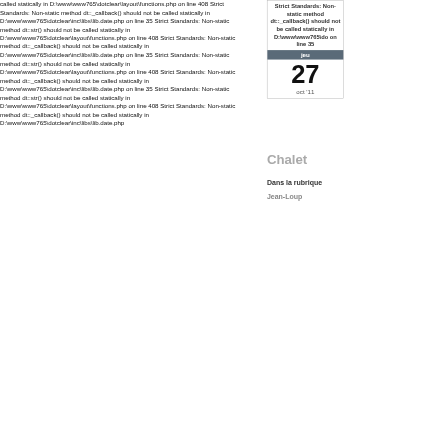called statically in D:\www\www765\dotclear\layout\functions.php on line 408 Strict Standards: Non-static method dt::_callback() should not be called statically in D:\www\www765\dotclear\inc\libs\lib.date.php on line 35 Strict Standards: Non-static method dt::str() should not be called statically in D:\www\www765\dotclear\layout\functions.php on line 408 Strict Standards: Non-static method dt::_callback() should not be called statically in D:\www\www765\dotclear\inc\libs\lib.date.php on line 35 Strict Standards: Non-static method dt::str() should not be called statically in D:\www\www765\dotclear\layout\functions.php on line 408 Strict Standards: Non-static method dt::_callback() should not be called statically in D:\www\www765\dotclear\inc\libs\lib.date.php on line 35 Strict Standards: Non-static method dt::str() should not be called statically in D:\www\www765\dotclear\layout\functions.php on line 408 Strict Standards: Non-static method dt::_callback() should not be called statically in D:\www\www765\dotclear\inc\libs\lib.date.php
[Figure (other): Calendar widget showing 'jeu 27 oct 11' with dark header bar for 'jeu']
Strict Standards: Non-static method dt::_callback() should not be called statically in D:\www\www765\do on line 35
Chalet
Dans la rubrique
Jean-Loup